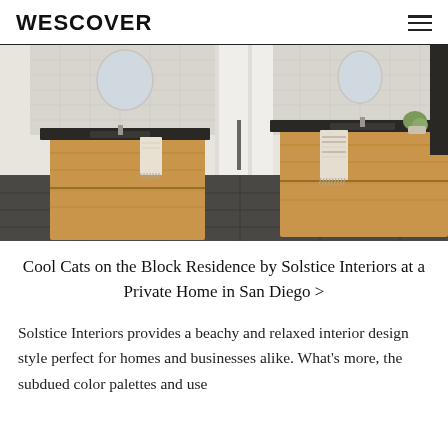WESCOVER
[Figure (photo): Bathroom interior showing two wooden floating vanities with dark stone countertops, rectangular undermount sinks, oval mirrors, and patterned tile backsplash. Dark wood-look tile floors. Beachy, modern style.]
Cool Cats on the Block Residence by Solstice Interiors at a Private Home in San Diego >
Solstice Interiors provides a beachy and relaxed interior design style perfect for homes and businesses alike. What’s more, the subdued color palettes and use